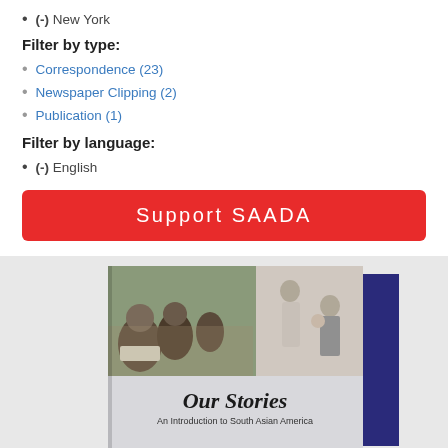(-) New York
Filter by type:
Correspondence (23)
Newspaper Clipping (2)
Publication (1)
Filter by language:
(-) English
Support SAADA
[Figure (photo): Book cover of 'Our Stories: An Introduction to South Asian America' shown at an angle with a collage of photographs on the cover including people at a protest and a vintage family portrait.]